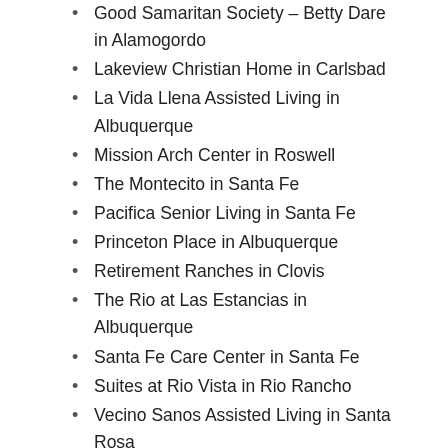Good Samaritan Society – Betty Dare in Alamogordo
Lakeview Christian Home in Carlsbad
La Vida Llena Assisted Living in Albuquerque
Mission Arch Center in Roswell
The Montecito in Santa Fe
Pacifica Senior Living in Santa Fe
Princeton Place in Albuquerque
Retirement Ranches in Clovis
The Rio at Las Estancias in Albuquerque
Santa Fe Care Center in Santa Fe
Suites at Rio Vista in Rio Rancho
Vecino Sanos Assisted Living in Santa Rosa
The Department of Health has detected community spread in the state of New Mexico and is investigating cases with no known exposure. The agency reports that given the infectious nature of the virus it is likely other residents are infected but yet to be tested or confirmed positive. To that end, all New Mexicans have been